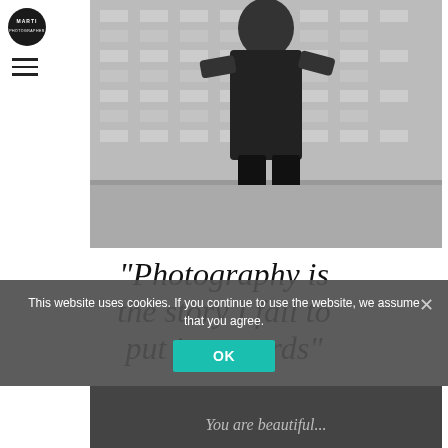[Figure (logo): Circular black logo with white text 'MARTI']
[Figure (photo): Black and white photo of a man at a fashion week event backdrop with logos including Flair, MG, and other brands. The man is wearing all black and standing in front of a repeating sponsor wall.]
“Photography is the story I fail to put into words”
This website uses cookies. If you continue to use the website, we assume that you agree.
[Figure (photo): Dark photo at bottom, partially visible, with text 'You are beautiful']